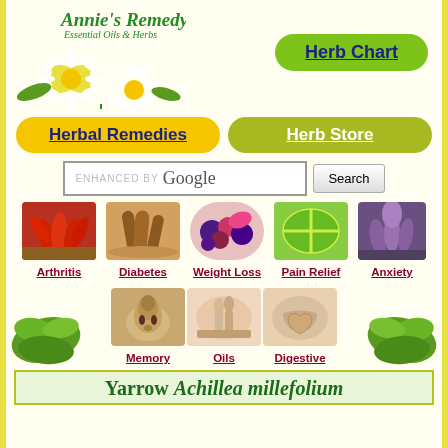[Figure (logo): Annie's Remedy Essential Oils & Herbs logo with daisy flowers]
[Figure (other): Green rounded button: Herb Chart]
[Figure (other): Yellow rounded button: Herbal Remedies]
[Figure (other): Olive green rounded button: Herb Store]
[Figure (screenshot): Google search bar with Search button]
[Figure (photo): Arthritis - red chilies image]
[Figure (photo): Diabetes - cinnamon sticks image]
[Figure (photo): Weight Loss - berries/flowers image]
[Figure (photo): Pain Relief - green leaf with cross image]
[Figure (photo): Anxiety - purple herb image]
Arthritis
Diabetes
Weight Loss
Pain Relief
Anxiety
[Figure (photo): Memory - Buddha statue image]
[Figure (photo): Oils - massage/bottles image]
[Figure (photo): Digestive - stomach/hands image]
Memory
Oils
Digestive
Yarrow Achillea millefolium